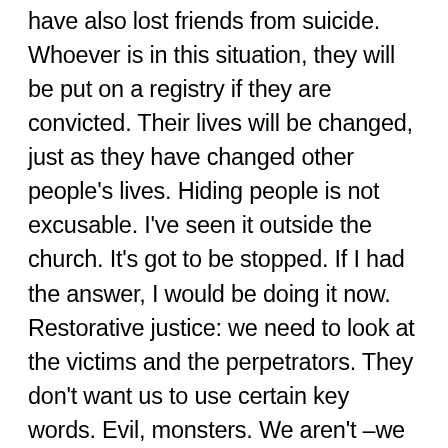have also lost friends from suicide. Whoever is in this situation, they will be put on a registry if they are convicted. Their lives will be changed, just as they have changed other people's lives. Hiding people is not excusable. I've seen it outside the church. It's got to be stopped. If I had the answer, I would be doing it now. Restorative justice: we need to look at the victims and the perpetrators. They don't want us to use certain key words. Evil, monsters. We aren't –we are just people who made bad decisions. And we will pay for that for the rest of our lives. You probably know some, and probably don't know who they are until you pull them up on the Internet. Let's not be too harsh right off the bat. I don't know if clergy can function if they are convicted – those are hard decisions. Restorative justice is important. Recidivism is so high because people feel so isolated. In my heart I wonder if I am ever going to be a full member